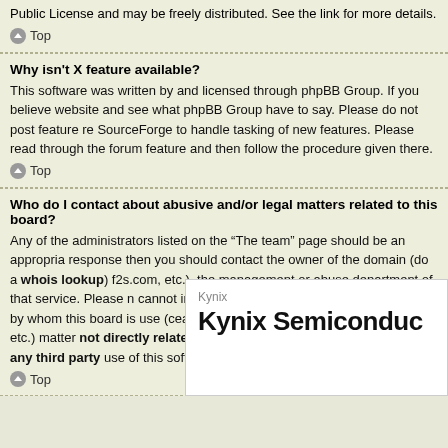Public License and may be freely distributed. See the link for more details.
Top
Why isn't X feature available?
This software was written by and licensed through phpBB Group. If you believe website and see what phpBB Group have to say. Please do not post feature re SourceForge to handle tasking of new features. Please read through the forum feature and then follow the procedure given there.
Top
Who do I contact about abusive and/or legal matters related to this board?
Any of the administrators listed on the “The team” page should be an appropria response then you should contact the owner of the domain (do a whois lookup) f2s.com, etc.), the management or abuse department of that service. Please n cannot in any way be held liable over how, where or by whom this board is use (cease and desist, liable, defamatory comment, etc.) matter not directly relate itself. If you do e-mail phpBB Group about any third party use of this software all.
Top
[Figure (logo): Kynix Semiconductor advertisement logo with 'Kynix' in gray and 'Kynix Semiconductor' in large bold text]